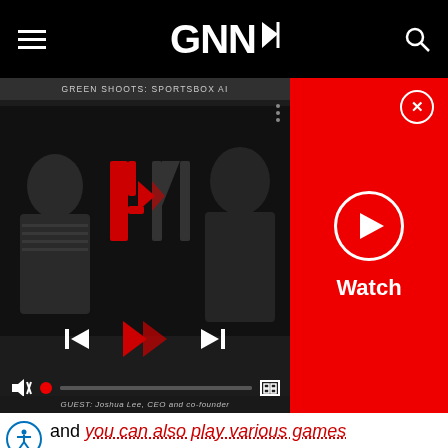GNN (Golf News Network) - navigation header
[Figure (screenshot): Video player showing 'GREEN SHOOTS: SPORTSBOX AI' with playback controls, mute button, progress bar, and guest caption 'GUEST: Joshua Lee, CEO and co-founder'. Adjacent red Watch panel with play button circle.]
and you can also play various games while you are there as well.
[Figure (photo): FALDO II golf shoe - white with green/yellow accents]
WIN THESE